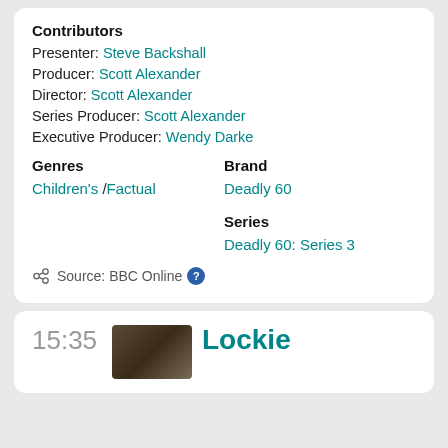Contributors
Presenter: Steve Backshall
Producer: Scott Alexander
Director: Scott Alexander
Series Producer: Scott Alexander
Executive Producer: Wendy Darke
Genres
Children's /Factual
Brand
Deadly 60
Series
Deadly 60: Series 3
Source: BBC Online
15:35
Lockie